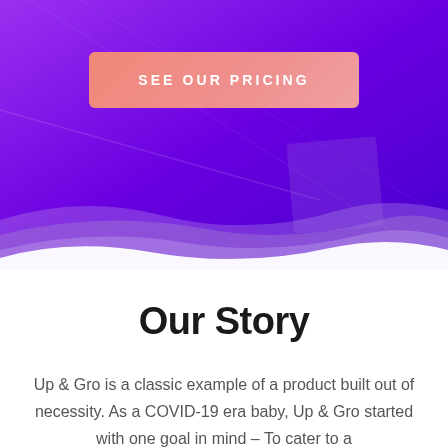[Figure (illustration): Purple gradient hero banner with diagonal light streaks and a semi-transparent square shape on the right side. A wave-like curved white edge at the bottom transitions to the white content area.]
SEE OUR PRICING
Our Story
Up & Gro is a classic example of a product built out of necessity. As a COVID-19 era baby, Up & Gro started with one goal in mind – To cater to a